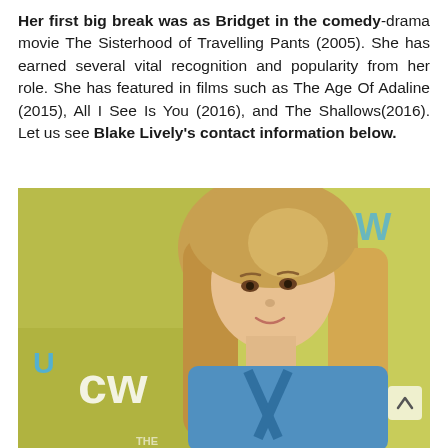Her first big break was as Bridget in the comedy-drama movie The Sisterhood of Travelling Pants (2005). She has earned several vital recognition and popularity from her role. She has featured in films such as The Age Of Adaline (2015), All I See Is You (2016), and The Shallows(2016). Let us see Blake Lively's contact information below.
[Figure (photo): A young blonde woman at a CW network event, wearing a blue outfit, with the CW logo visible in the background.]